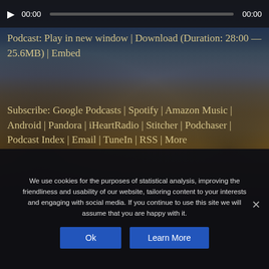[Figure (screenshot): Audio player bar with play button, time display 00:00, progress bar, and end time 00:00]
Podcast: Play in new window | Download (Duration: 28:00 — 25.6MB) | Embed
Subscribe: Google Podcasts | Spotify | Amazon Music | Android | Pandora | iHeartRadio | Stitcher | Podchaser | Podcast Index | Email | TuneIn | RSS | More
[Figure (illustration): Partial image with letter T visible, decorative artwork]
We use cookies for the purposes of statistical analysis, improving the friendliness and usability of our website, tailoring content to your interests and engaging with social media. If you continue to use this site we will assume that you are happy with it.